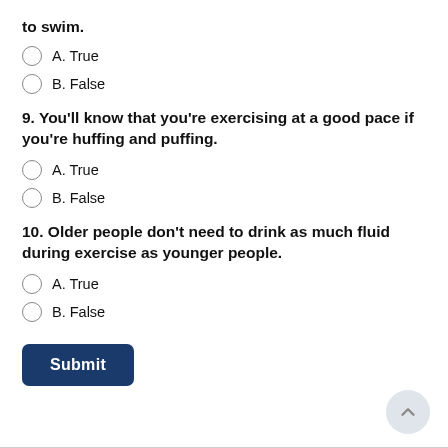to swim.
A. True
B. False
9. You'll know that you're exercising at a good pace if you're huffing and puffing.
A. True
B. False
10. Older people don't need to drink as much fluid during exercise as younger people.
A. True
B. False
Submit